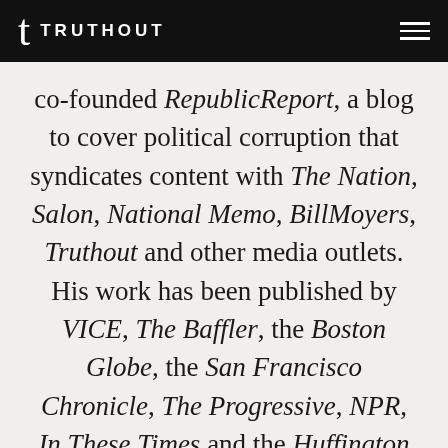TRUTHOUT
co-founded RepublicReport, a blog to cover political corruption that syndicates content with The Nation, Salon, National Memo, BillMoyers, Truthout and other media outlets. His work has been published by VICE, The Baffler, the Boston Globe, the San Francisco Chronicle, The Progressive, NPR, In These Times and the Huffington Post. His first book, The Machine: A Field Guide to the Resurgent Right, published by the New Press, explores how the conservative right rebuilt the Republican Party and its